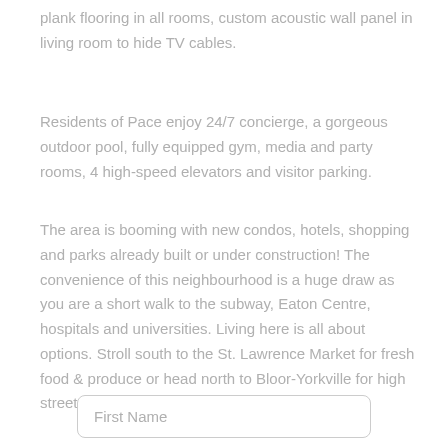plank flooring in all rooms, custom acoustic wall panel in living room to hide TV cables.
Residents of Pace enjoy 24/7 concierge, a gorgeous outdoor pool, fully equipped gym, media and party rooms, 4 high-speed elevators and visitor parking.
The area is booming with new condos, hotels, shopping and parks already built or under construction! The convenience of this neighbourhood is a huge draw as you are a short walk to the subway, Eaton Centre, hospitals and universities. Living here is all about options. Stroll south to the St. Lawrence Market for fresh food & produce or head north to Bloor-Yorkville for high street shopping or lunch at Eataly!
First Name